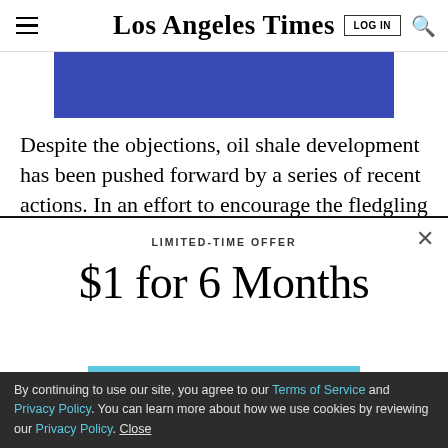Los Angeles Times
[Figure (other): Blue advertisement banner]
Despite the objections, oil shale development has been pushed forward by a series of recent actions. In an effort to encourage the fledgling industry, officials said, new
LIMITED-TIME OFFER
$1 for 6 Months
SUBSCRIBE NOW
By continuing to use our site, you agree to our Terms of Service and Privacy Policy. You can learn more about how we use cookies by reviewing our Privacy Policy. Close